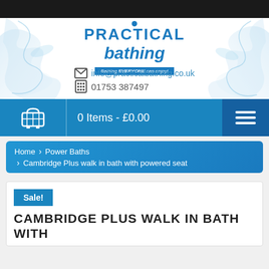[Figure (logo): Practical Bathing logo with water splash background, tagline: Bathing EVERYONE can enjoy!]
info@practicalbathing.co.uk
01753 387497
0 Items - £0.00
Home > Power Baths > Cambridge Plus walk in bath with powered seat
Sale!
CAMBRIDGE PLUS WALK IN BATH WITH